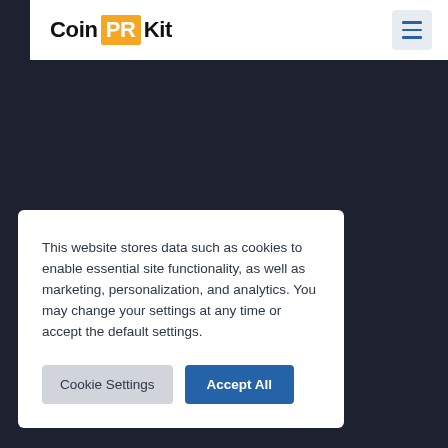Coin PR Kit
This website stores data such as cookies to enable essential site functionality, as well as marketing, personalization, and analytics. You may change your settings at any time or accept the default settings.
Cookie Settings | Accept All